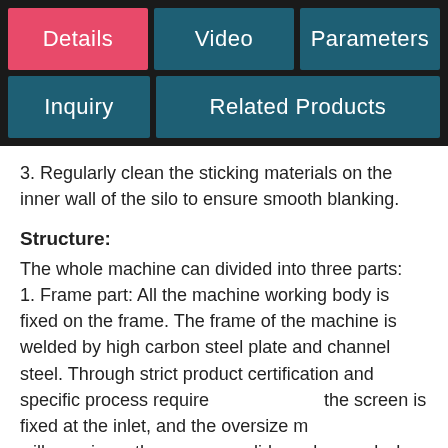Details | Video | Parameters | Inquiry | Related Products
3. Regularly clean the sticking materials on the inner wall of the silo to ensure smooth blanking.
Structure:
The whole machine can divided into three parts:
1. Frame part: All the machine working body is fixed on the frame. The frame of the machine is welded by high carbon steel plate and channel steel. Through strict product certification and specific process requirements, the screen is fixed at the inlet, and the oversize material will remain on the screen or slide and ground when the shovel is thrown. It has reached the purpose used by this machine.